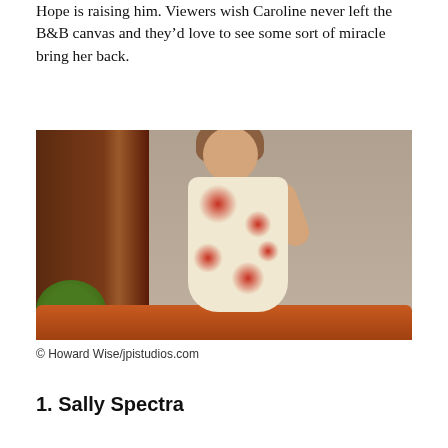Hope is raising him. Viewers wish Caroline never left the B&B canvas and they'd love to see some sort of miracle bring her back.
[Figure (photo): Woman in a white floral dress with red flowers, holding her hand near her face, standing in what appears to be a soap opera set with wood paneling, orange sofa, and green plants in the background.]
© Howard Wise/jpistudios.com
1. Sally Spectra